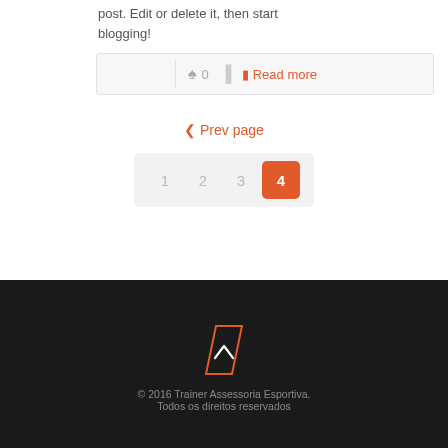post. Edit or delete it, then start blogging!
0   Read more
‹ Prev page
1  2  3  4
[Figure (other): Back to top button: orange parallelogram outline with upward chevron arrow in white, on dark background]
© 2016 Trainer Assessoria Esportiva. Todos os direitos reservados